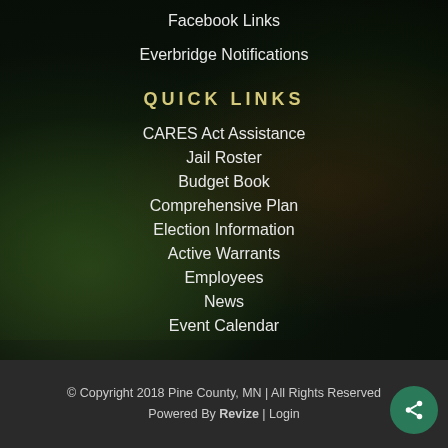Facebook Links
Everbridge Notifications
QUICK LINKS
CARES Act Assistance
Jail Roster
Budget Book
Comprehensive Plan
Election Information
Active Warrants
Employees
News
Event Calendar
© Copyright 2018 Pine County, MN | All Rights Reserved
Powered By Revize | Login